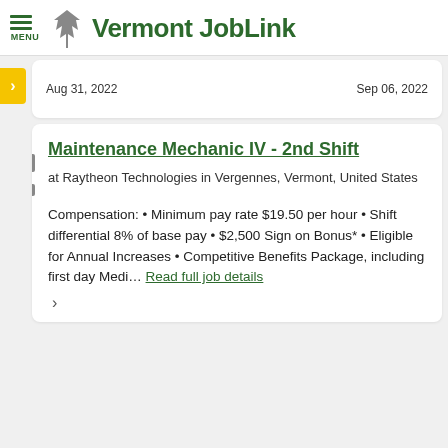Vermont JobLink
Aug 31, 2022    Sep 06, 2022
Maintenance Mechanic IV - 2nd Shift
at Raytheon Technologies in Vergennes, Vermont, United States
Compensation: • Minimum pay rate $19.50 per hour • Shift differential 8% of base pay • $2,500 Sign on Bonus* • Eligible for Annual Increases • Competitive Benefits Package, including first day Medi… Read full job details